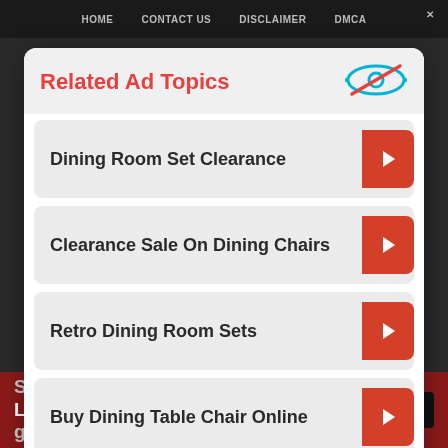HOME   CONTACT US   DISCLAIMER   DMCA
Related Ad Topics
Dining Room Set Clearance
Clearance Sale On Dining Chairs
Retro Dining Room Sets
Buy Dining Table Chair Online
Continue to Site >>